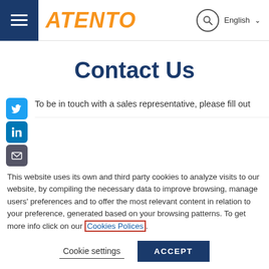Atento — English
Contact Us
To be in touch with a sales representative, please fill out
This website uses its own and third party cookies to analyze visits to our website, by compiling the necessary data to improve browsing, manage users' preferences and to offer the most relevant content in relation to your preference, generated based on your browsing patterns. To get more info click on our Cookies Polices.
Cookie settings   ACCEPT